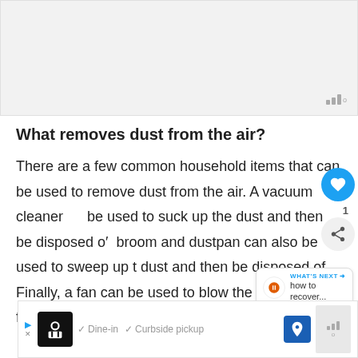[Figure (screenshot): Top gray advertisement placeholder area with weather/signal icon in bottom-right corner]
What removes dust from the air?
There are a few common household items that can be used to remove dust from the air. A vacuum cleaner can be used to suck up the dust and then be disposed of. A broom and dustpan can also be used to sweep up the dust and then be disposed of. Finally, a fan can be used to blow the dust away from the area.
[Figure (screenshot): Bottom advertisement bar with restaurant logo, Dine-in and Curbside pickup checkmarks, navigation icon, and weather icon]
[Figure (infographic): Floating UI elements: heart/like button, share button, count indicator 1, and What's Next panel with how to recover...]